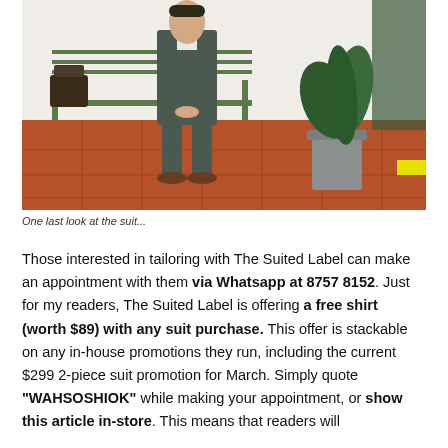[Figure (photo): A man in a dark grey plaid suit sitting on a green metal bench outdoors, with a plant and bag visible in the background, on a terracotta tiled floor.]
One last look at the suit...
Those interested in tailoring with The Suited Label can make an appointment with them via Whatsapp at 8757 8152. Just for my readers, The Suited Label is offering a free shirt (worth $89) with any suit purchase. This offer is stackable on any in-house promotions they run, including the current $299 2-piece suit promotion for March. Simply quote "WAHSOSHIOK" while making your appointment, or show this article in-store. This means that readers will